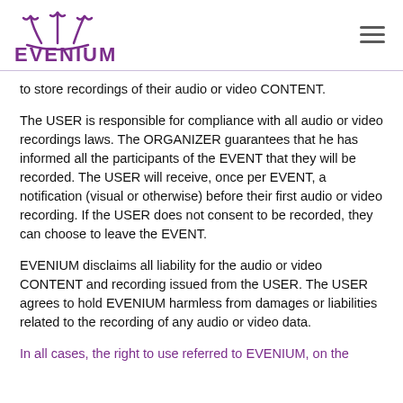EVENIUM logo and navigation
to store recordings of their audio or video CONTENT.
The USER is responsible for compliance with all audio or video recordings laws. The ORGANIZER guarantees that he has informed all the participants of the EVENT that they will be recorded. The USER will receive, once per EVENT, a notification (visual or otherwise) before their first audio or video recording. If the USER does not consent to be recorded, they can choose to leave the EVENT.
EVENIUM disclaims all liability for the audio or video CONTENT and recording issued from the USER. The USER agrees to hold EVENIUM harmless from damages or liabilities related to the recording of any audio or video data.
In all cases, the right to use referred to EVENIUM, on the